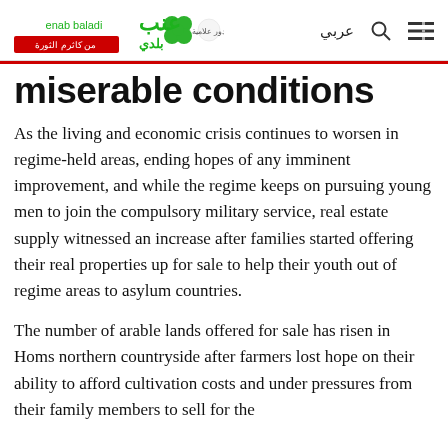Enab Baladi — عربي
miserable conditions
As the living and economic crisis continues to worsen in regime-held areas, ending hopes of any imminent improvement, and while the regime keeps on pursuing young men to join the compulsory military service, real estate supply witnessed an increase after families started offering their real properties up for sale to help their youth out of regime areas to asylum countries.
The number of arable lands offered for sale has risen in Homs northern countryside after farmers lost hope on their ability to afford cultivation costs and under pressures from their family members to sell for the